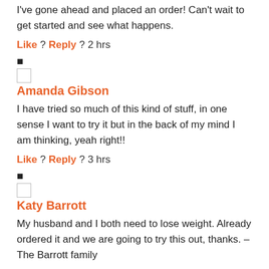I've gone ahead and placed an order! Can't wait to get started and see what happens.
Like ? Reply ? 2 hrs
■
Amanda Gibson
I have tried so much of this kind of stuff, in one sense I want to try it but in the back of my mind I am thinking, yeah right!!
Like ? Reply ? 3 hrs
■
Katy Barrott
My husband and I both need to lose weight. Already ordered it and we are going to try this out, thanks. – The Barrott family